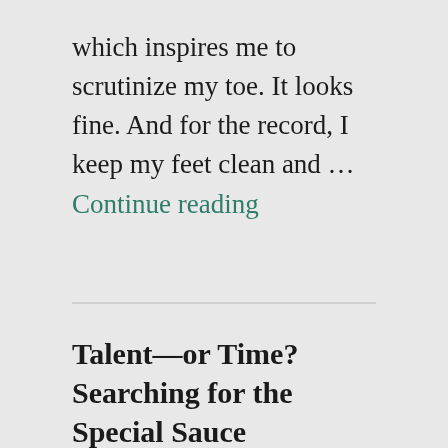which inspires me to scrutinize my toe. It looks fine. And for the record, I keep my feet clean and … Continue reading
Talent—or Time? Searching for the Special Sauce
SEPTEMBER 13, 2020 / LEAVE A COMMENT